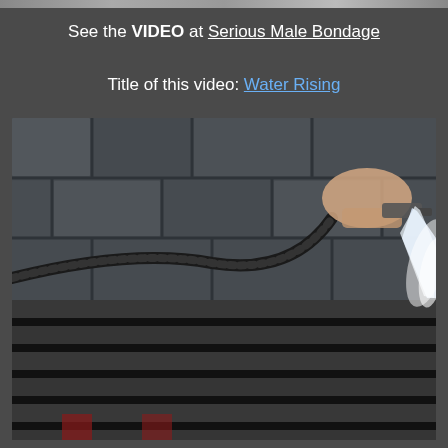See the VIDEO at Serious Male Bondage
Title of this video: Water Rising
[Figure (photo): A hand holding a high-pressure water hose spraying water onto a metal grate or drain cover set in brick or stone paving. The water jet is visible as a bright white spray. A black hose arcs across the pavement.]